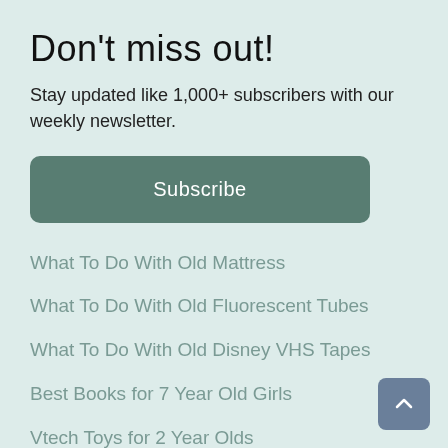Don't miss out!
Stay updated like 1,000+ subscribers with our weekly newsletter.
[Figure (other): Subscribe button — a teal/green rounded rectangle with white text 'Subscribe']
What To Do With Old Mattress
What To Do With Old Fluorescent Tubes
What To Do With Old Disney VHS Tapes
Best Books for 7 Year Old Girls
Vtech Toys for 2 Year Olds